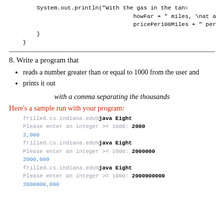System.out.println("With the gas in the tank howFar + " miles, \nat a pricePer100Miles + " per
}
}
8. Write a program that
reads a number greater than or equal to 1000 from the user and
prints it out
with a comma separating the thousands
Here's a sample run with your program:
frilled.cs.indiana.edu%java Eight
Please enter an integer >= 1000: 2000
2,000
frilled.cs.indiana.edu%java Eight
Please enter an integer >= 1000: 2000000
2000,000
frilled.cs.indiana.edu%java Eight
Please enter an integer >= 1000: 2000000000
2000000,000